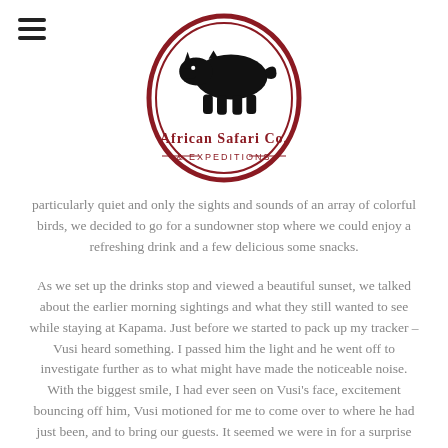[Figure (logo): African Safari Co. & Expeditions logo — dark red oval border with a black rhinoceros silhouette on top and the company name below]
particularly quiet and only the sights and sounds of an array of colorful birds, we decided to go for a sundowner stop where we could enjoy a refreshing drink and a few delicious some snacks.
As we set up the drinks stop and viewed a beautiful sunset, we talked about the earlier morning sightings and what they still wanted to see while staying at Kapama. Just before we started to pack up my tracker – Vusi heard something. I passed him the light and he went off to investigate further as to what might have made the noticeable noise. With the biggest smile, I had ever seen on Vusi's face, excitement bouncing off him, Vusi motioned for me to come over to where he had just been, and to bring our guests. It seemed we were in for a surprise that I never would have expected.
There it was between the grass, as relaxed as one can be